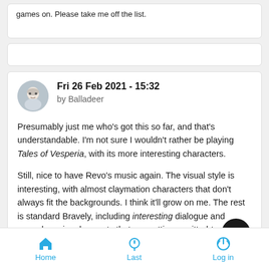games on. Please take me off the list.
Fri 26 Feb 2021 - 15:32
by Balladeer
Presumably just me who's got this so far, and that's understandable. I'm not sure I wouldn't rather be playing Tales of Vesperia, with its more interesting characters.

Still, nice to have Revo's music again. The visual style is interesting, with almost claymation characters that don't always fit the backgrounds. I think it'll grow on me. The rest is standard Bravely, including interesting dialogue and comedy regional accents that are getting a gritted-teeth smile from me. Still, enemies in the overworld is a big plus!
Home  Last  Log in